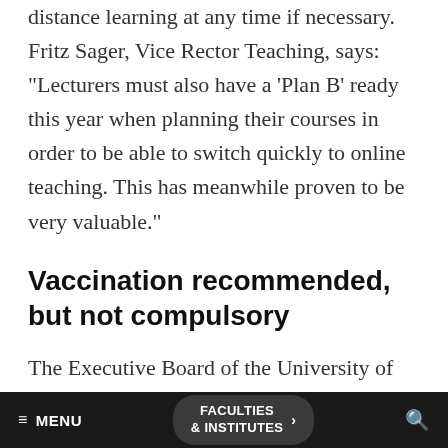distance learning at any time if necessary. Fritz Sager, Vice Rector Teaching, says: "Lecturers must also have a 'Plan B' ready this year when planning their courses in order to be able to switch quickly to online teaching. This has meanwhile proven to be very valuable."
Vaccination recommended, but not compulsory
The Executive Board of the University of Bern recommends that all university employees get vaccinated. "The numbers of coronavirus infections
≡ MENU   FACULTIES & INSTITUTES >   🔍